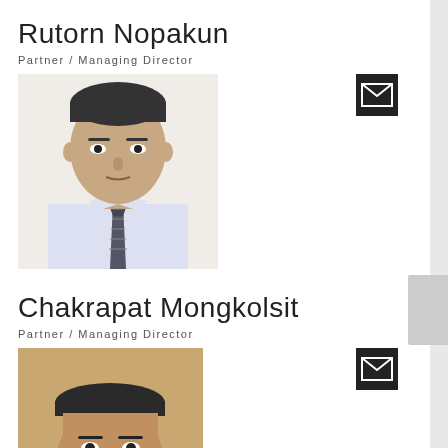Rutorn Nopakun
Partner / Managing Director
[Figure (photo): Headshot photo of Rutorn Nopakun, a man in a white dress shirt and striped tie, neutral expression, looking at camera]
[Figure (other): Email envelope icon button (black square with white envelope)]
Chakrapat Mongkolsit
Partner / Managing Director
[Figure (photo): Headshot photo of Chakrapat Mongkolsit, partial view showing top of head and forehead]
[Figure (other): Email envelope icon button (black square with white envelope)]